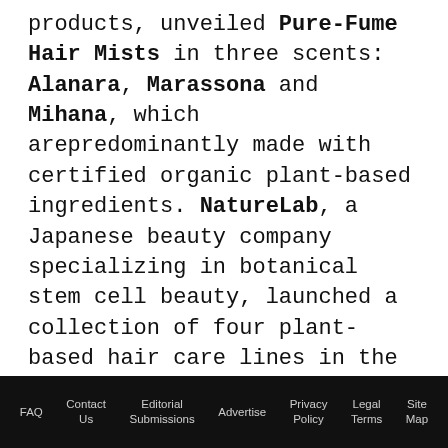products, unveiled Pure-Fume Hair Mists in three scents: Alanara, Marassona and Mihana, which are predominantly made with certified organic plant-based ingredients. NatureLab, a Japanese beauty company specializing in botanical stem cell beauty, launched a collection of four plant-based hair care lines in the U.S. Perfect Shine includes a shampoo, conditioner and oil mist, which are formulated with grape stem cells, platinum fiber, pearl extract and hyaluronic acid. Perfect Volume is made up of shampoo, conditioner, blowout jelly and texture mist with rice and soy proteins and apple stem cells. Perfect Smooth features a shampoo, conditioner, blowout lotion and hair oil
FAQ | Contact Us | Editorial Submissions | Advertise | Privacy Policy | Legal Terms | Site Map